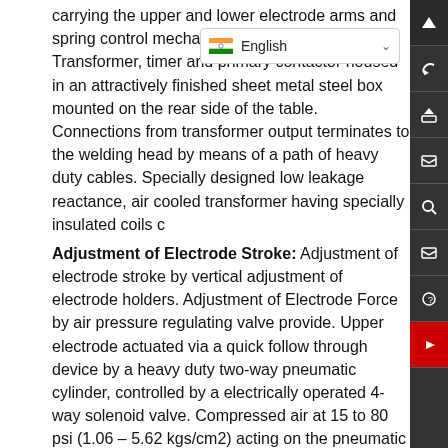carrying the upper and lower electrode arms and spring control mechanism… air cooled Transformer, timer and primary contactor housed in an attractively finished sheet metal steel box mounted on the rear side of the table. Connections from transformer output terminates to the welding head by means of a path of heavy duty cables. Specially designed low leakage reactance, air cooled transformer having specially insulated coils c
Adjustment of Electrode Stroke: Adjustment of electrode stroke by vertical adjustment of electrode holders. Adjustment of Electrode Force by air pressure regulating valve provide. Upper electrode actuated via a quick follow through device by a heavy duty two-way pneumatic cylinder, controlled by a electrically operated 4-way solenoid valve. Compressed air at 15 to 80 psi (1.06 – 5.62 kgs/cm2) acting on the pneumatic cylinder provides the necessary electrode force.
Cooling System: Electrodes, Electrode holders